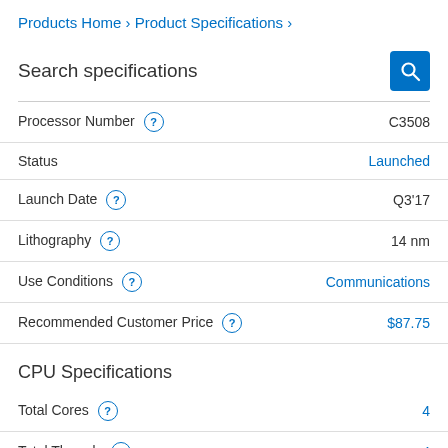Products Home › Product Specifications ›
Search specifications
| Specification | Value |
| --- | --- |
| Processor Number | C3508 |
| Status | Launched |
| Launch Date | Q3'17 |
| Lithography | 14 nm |
| Use Conditions | Communications |
| Recommended Customer Price | $87.75 |
CPU Specifications
| Specification | Value |
| --- | --- |
| Total Cores | 4 |
| Total Threads | 4 |